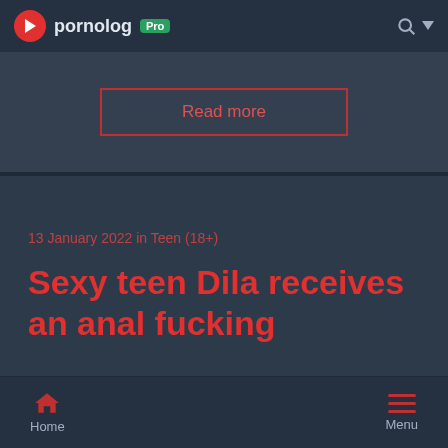pornolog Pro
Read more
13 January 2022 in Teen (18+)
Sexy teen Dila receives an anal fucking
Home   Menu